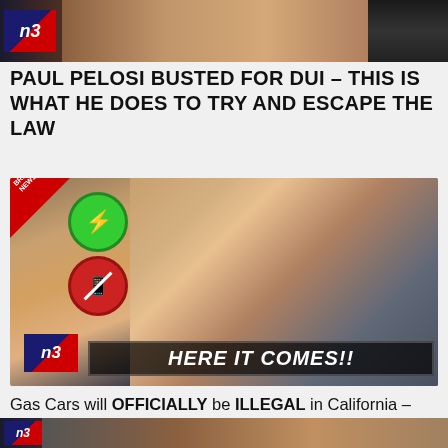[Figure (screenshot): News thumbnail strip at top with NB logo on left, partial face images]
PAUL PELOSI BUSTED FOR DUI – THIS IS WHAT HE DOES TO TRY AND ESCAPE THE LAW
[Figure (screenshot): News thumbnail with BREAKING NEWS badge, electric plug green circle icon, no-gas-pump red circle icon, NB logo bottom left, screaming man hanging off Jeep hood, text 'HERE IT COMES!!' at bottom]
Gas Cars will OFFICIALLY be ILLEGAL in California – Here's When!
[Figure (screenshot): Partial bottom strip thumbnail with NB logo visible]